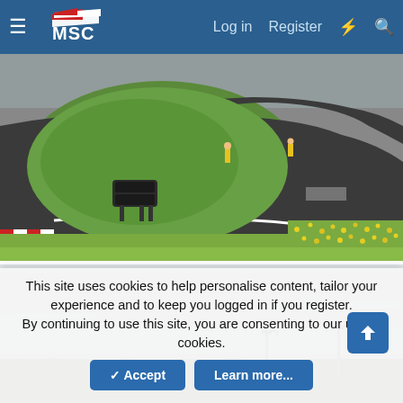[Figure (screenshot): MSC website navigation bar with hamburger menu, MSC logo, Log in, Register, lightning bolt icon, and search icon on a blue background]
[Figure (photo): Aerial view of a karting track with green grass infield, two marshals in yellow hi-vis jackets standing on the track, tire barriers, and yellow wildflowers in the foreground]
[Figure (photo): Overcast sky above a treeline with light poles visible, bottom portion of a second karting track photo]
This site uses cookies to help personalise content, tailor your experience and to keep you logged in if you register.
By continuing to use this site, you are consenting to our use of cookies.
Accept
Learn more...